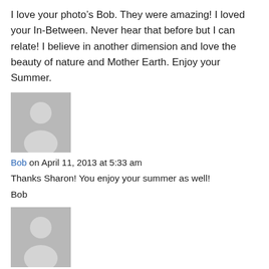I love your photo’s Bob. They were amazing! I loved your In-Between. Never hear that before but I can relate! I believe in another dimension and love the beauty of nature and Mother Earth. Enjoy your Summer.
[Figure (illustration): Generic grey avatar/silhouette placeholder image for a commenter]
Bob on April 11, 2013 at 5:33 am
Thanks Sharon! You enjoy your summer as well!
Bob
[Figure (illustration): Generic grey avatar/silhouette placeholder image for Bob]